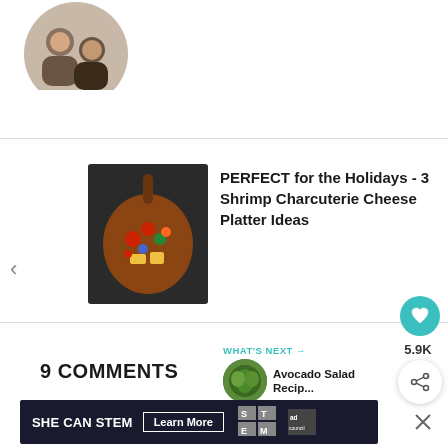[Figure (photo): Circular cropped profile photo showing two people]
[Figure (photo): Thumbnail image of a charcuterie cheese platter with shrimp and vegetables on a wooden board]
PERFECT for the Holidays - 3 Shrimp Charcuterie Cheese Platter Ideas
5.9K
9 COMMENTS
WHAT'S NEXT → Avocado Salad Recip...
[Figure (photo): Small circular thumbnail of avocado salad]
[Figure (infographic): Advertisement banner: SHE CAN STEM - Learn More - ad council logo]